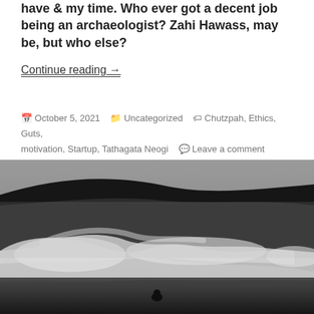have & my time. Who ever got a decent job being an archaeologist? Zahi Hawass, may be, but who else?
Continue reading →
October 5, 2021  Uncategorized  Chutzpah, Ethics, Guts, motivation, Startup, Tathagata Neogi  Leave a comment
[Figure (photo): Black and white photograph of a massive ocean wave with a lone person visible in the foreground water]